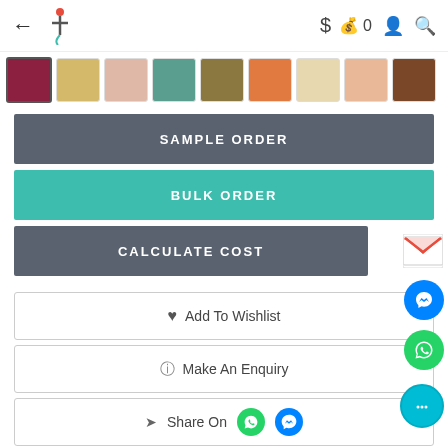← [logo] $ 0 [user] [search]
[Figure (infographic): Color swatch row with 9 color options: dark red (selected), light yellow, light pink, teal/green, olive/khaki, orange, cream, light peach, brown]
SAMPLE ORDER
BULK ORDER
CALCULATE COST
♥ Add To Wishlist
⊘ Make An Enquiry
< Share On [WhatsApp] [Messenger]